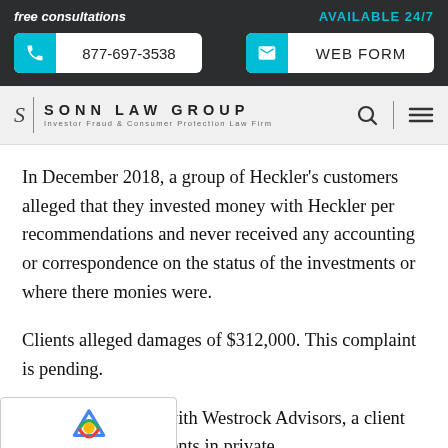free consultations | AVAILABLE 24/7 | 877-697-3538 | WEB FORM
[Figure (logo): Sonn Law Group logo — Investor Fraud & Consumer Protection Law Firm]
In December 2018, a group of Heckler’s customers alleged that they invested money with Heckler per recommendations and never received any accounting or correspondence on the status of the investments or where there monies were.
Clients alleged damages of $312,000. This complaint is pending.
ember 2007, while with Westrock Advisors, a client claimed his investments in private